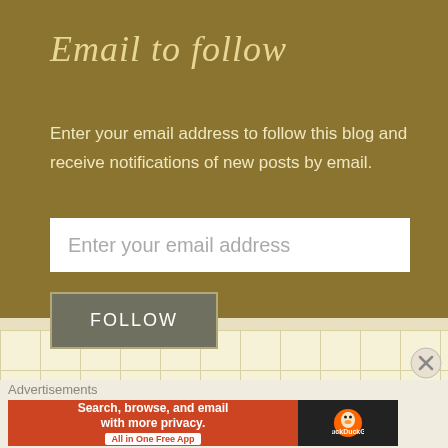Email to follow
Enter your email address to follow this blog and receive notifications of new posts by email.
[Figure (screenshot): Email input field with placeholder text 'Enter your email address']
[Figure (screenshot): FOLLOW button in grey with border]
Advertisements
[Figure (screenshot): DuckDuckGo advertisement banner: 'Search, browse, and email with more privacy. All in One Free App' with DuckDuckGo logo on dark background]